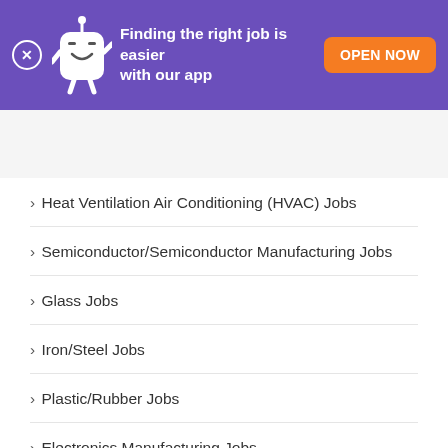[Figure (screenshot): Monster job site app promotion banner with purple background, mascot character, text 'Finding the right job is easier with our app' and orange 'OPEN NOW' button]
[Figure (logo): Monster.com navigation bar with hamburger menu, 'monster' logo in purple, search icon and login icon]
› Heat Ventilation Air Conditioning (HVAC) Jobs
› Semiconductor/Semiconductor Manufacturing Jobs
› Glass Jobs
› Iron/Steel Jobs
› Plastic/Rubber Jobs
› Electronics Manufacturing Jobs